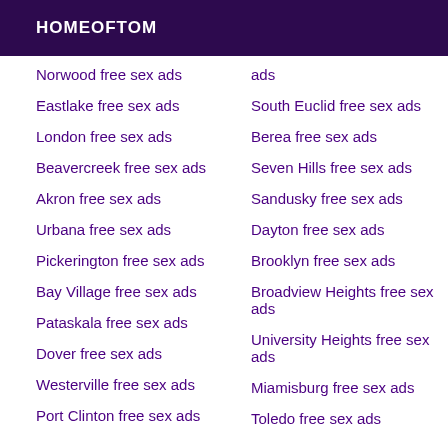HOMEOFTOM
Norwood free sex ads
Eastlake free sex ads
London free sex ads
Beavercreek free sex ads
Akron free sex ads
Urbana free sex ads
Pickerington free sex ads
Bay Village free sex ads
Pataskala free sex ads
Dover free sex ads
Westerville free sex ads
Port Clinton free sex ads
ads
South Euclid free sex ads
Berea free sex ads
Seven Hills free sex ads
Sandusky free sex ads
Dayton free sex ads
Brooklyn free sex ads
Broadview Heights free sex ads
University Heights free sex ads
Miamisburg free sex ads
Toledo free sex ads